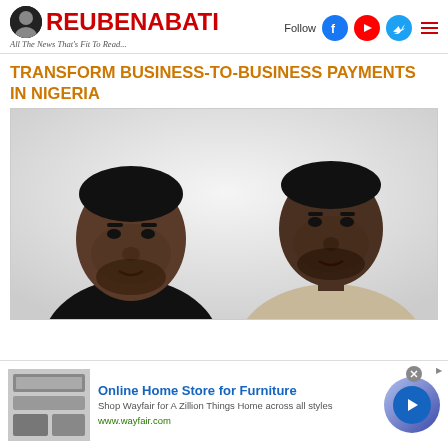ReubenAbati — All The News That's Fit To Read...
TRANSFORM BUSINESS-TO-BUSINESS PAYMENTS IN NIGERIA
[Figure (photo): Two African men photographed against a light grey background. The man on the left wears a black shirt, the man on the right wears a grey/beige shirt.]
Online Home Store for Furniture — Shop Wayfair for A Zillion Things Home across all styles — www.wayfair.com